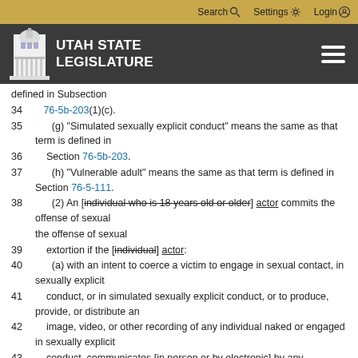Search | Settings | Login
[Figure (logo): Utah State Legislature logo with capitol building icon and site navigation bar]
defined in Subsection
34     76-5b-203(1)(c).
35     (g) "Simulated sexually explicit conduct" means the same as that term is defined in
36     Section 76-5b-203.
37     (h) "Vulnerable adult" means the same as that term is defined in Section 76-5-111.
38     (2) An [individual who is 18 years old or older] actor commits the offense of sexual
39     extortion if the [individual] actor:
40     (a) with an intent to coerce a victim to engage in sexual contact, in sexually explicit
41     conduct, or in simulated sexually explicit conduct, or to produce, provide, or distribute an
42     image, video, or other recording of any individual naked or engaged in sexually explicit
43     conduct, communicates [in person or by electronic] by any means, a threat: